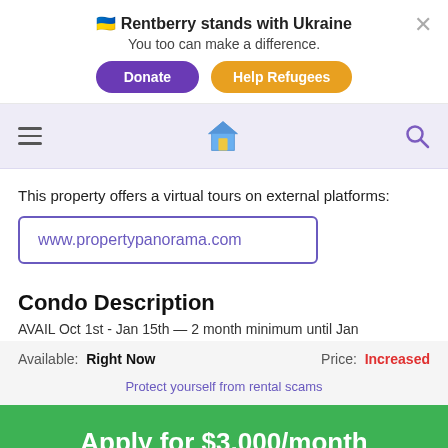🇺🇦 Rentberry stands with Ukraine — You too can make a difference. [Donate] [Help Refugees]
Rentberry navigation bar with hamburger menu, house logo, search icon
This property offers a virtual tours on external platforms:
www.propertypanorama.com
Condo Description
AVAIL Oct 1st - Jan 15th - 2 month minimum until Jan
Available: Right Now   Price: Increased
Protect yourself from rental scams
Apply for $3,000/month